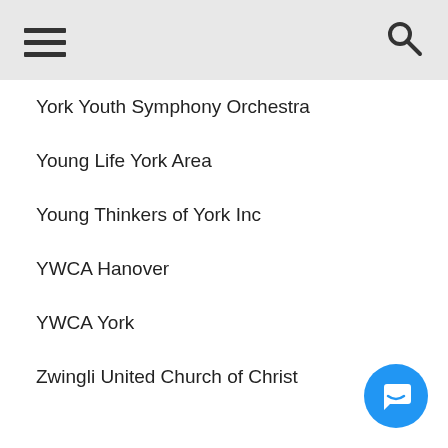York Youth Symphony Orchestra
Young Life York Area
Young Thinkers of York Inc
YWCA Hanover
YWCA York
Zwingli United Church of Christ